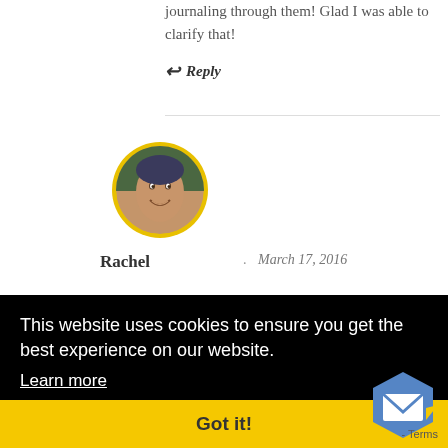journaling through them! Glad I was able to clarify that!
↩ Reply
[Figure (photo): Circular avatar photo of Rachel with a yellow border, showing a smiling woman]
Rachel · March 17, 2016
This website uses cookies to ensure you get the best experience on our website. Learn more
Got it!
- Terms
just writing for God is important. It was good for